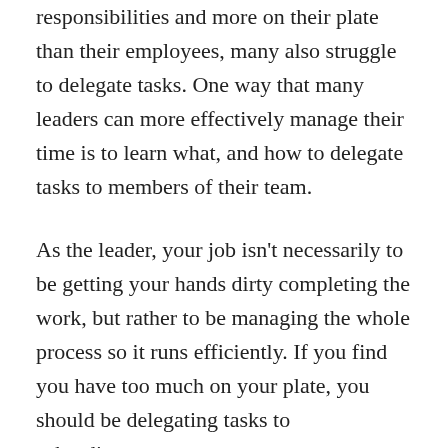responsibilities and more on their plate than their employees, many also struggle to delegate tasks. One way that many leaders can more effectively manage their time is to learn what, and how to delegate tasks to members of their team.
As the leader, your job isn't necessarily to be getting your hands dirty completing the work, but rather to be managing the whole process so it runs efficiently. If you find you have too much on your plate, you should be delegating tasks to subordinates.
If you aren't confident in your employee's ability to complete certain tasks, you should be providing them with the skills and training in order to do so.